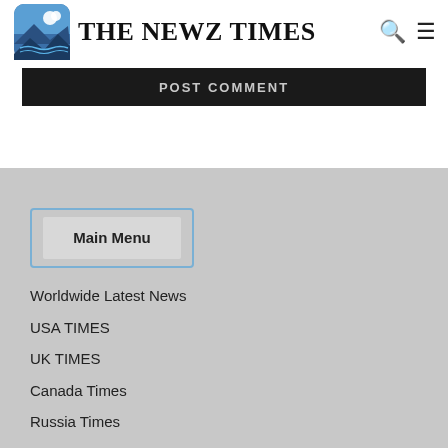[Figure (logo): The Newz Times logo — stylized blue mountain/wave icon with text 'The Newz Times']
THE NEWZ TIMES
POST COMMENT
Main Menu
Worldwide Latest News
USA TIMES
UK TIMES
Canada Times
Russia Times
Australia Times